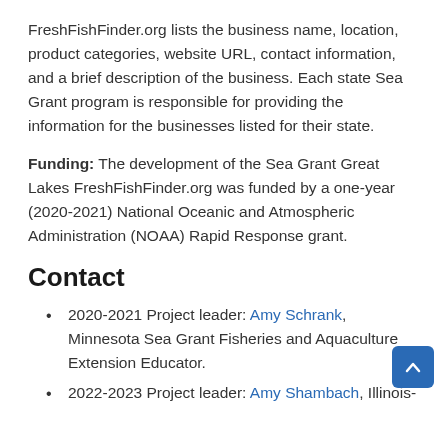FreshFishFinder.org lists the business name, location, product categories, website URL, contact information, and a brief description of the business. Each state Sea Grant program is responsible for providing the information for the businesses listed for their state.
Funding: The development of the Sea Grant Great Lakes FreshFishFinder.org was funded by a one-year (2020-2021) National Oceanic and Atmospheric Administration (NOAA) Rapid Response grant.
Contact
2020-2021 Project leader: Amy Schrank, Minnesota Sea Grant Fisheries and Aquaculture Extension Educator.
2022-2023 Project leader: Amy Shambach, Illinois-